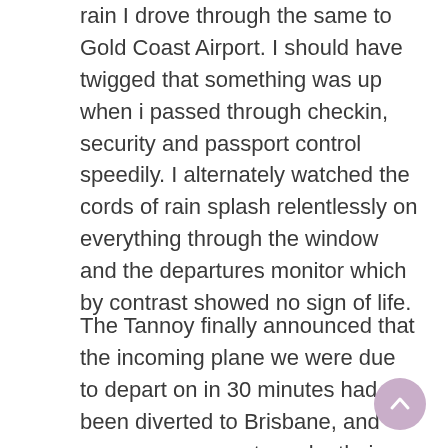amongst the thunder. Pulling boldly to 30-35 of rain I drove through the same to Gold Coast Airport. I should have twigged that something was up when i passed through checkin, security and passport control speedily. I alternately watched the cords of rain splash relentlessly on everything through the window and the departures monitor which by contrast showed no sign of life.
The Tannoy finally announced that the incoming plane we were due to depart on in 30 minutes had been diverted to Brisbane, and passengers were to make their way back through arrivals to board a coach who would transfer us to our waiting aircraft. All good.